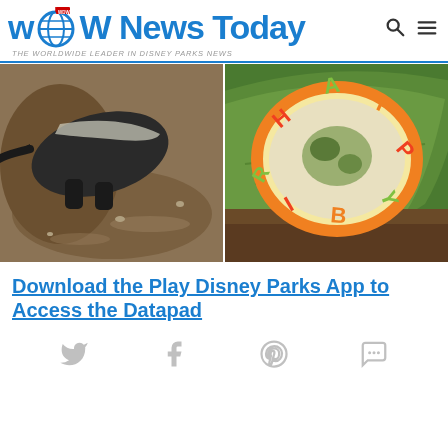WDW News Today — THE WORLDWIDE LEADER IN DISNEY PARKS NEWS
[Figure (photo): Two side-by-side photos: left shows an anteater on dirt ground, right shows a Happy Birthday cake/treat with colorful letter decorations on green leaves]
Download the Play Disney Parks App to Access the Datapad
[Figure (infographic): Social sharing icons: Twitter, Facebook, Pinterest, Messenger]